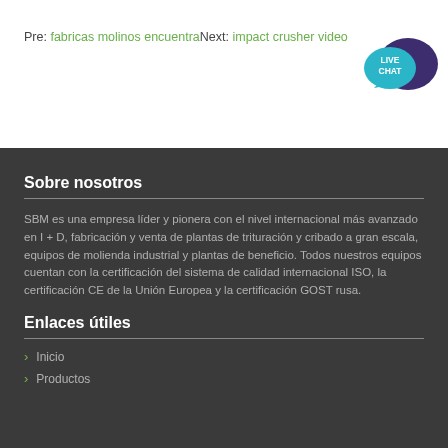Pre: fabricas molinos encuentra Next: impact crusher video
[Figure (illustration): Live Chat button with speech bubble icon in teal and dark purple]
Sobre nosotros
SBM es una empresa líder y pionera con el nivel internacional más avanzado en I + D, fabricación y venta de plantas de trituración y cribado a gran escala, equipos de molienda industrial y plantas de beneficio. Todos nuestros equipos cuentan con la certificación del sistema de calidad internacional ISO, la certificación CE de la Unión Europea y la certificación GOST rusa.
Enlaces útiles
Inicio
Productos